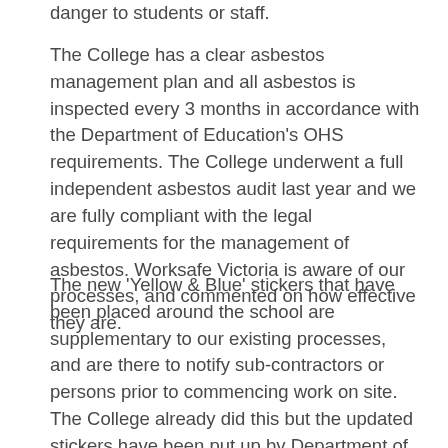danger to students or staff.
The College has a clear asbestos management plan and all asbestos is inspected every 3 months in accordance with the Department of Education's OHS requirements. The College underwent a full independent asbestos audit last year and we are fully compliant with the legal requirements for the management of asbestos. Worksafe Victoria is aware of our processes, and commented on how effective they are.
The new 'Yellow & Blue' stickers that have been placed around the school are supplementary to our existing processes, and are there to notify sub-contractors or persons prior to commencing work on site. The College already did this but the updated stickers have been put up by Department of Education in all schools in Victoria to standardise the process.